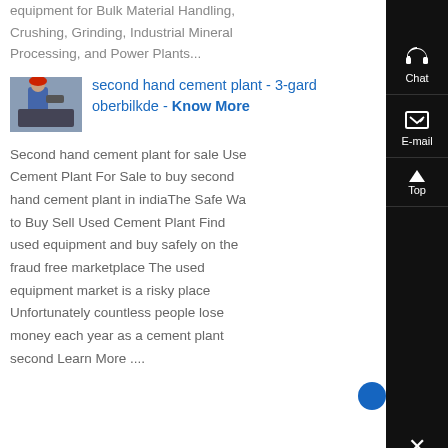equipment for Bulk Material Handling, Crushing, Grinding, Industrial Mineral Processing, and Power Plants...
[Figure (photo): Person in blue work clothes and red hard hat working with industrial equipment]
second hand cement plant - 3-gard oberbilkde - Know More
Second hand cement plant for sale Used Cement Plant For Sale to buy second hand cement plant in indiaThe Safe Way to Buy Sell Used Cement Plant Find used equipment and buy safely on the fraud free marketplace The used equipment market is a risky place Unfortunately countless people lose money each year as a cement plant second Learn More ....